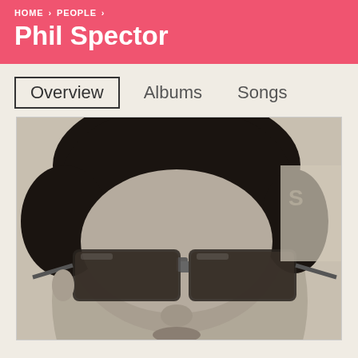HOME › PEOPLE ›
Phil Spector
Overview   Albums   Songs
[Figure (photo): Black and white close-up photograph of Phil Spector wearing large tinted aviator-style sunglasses, dark hair, looking slightly downward, cropped at chin level.]